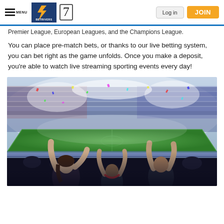BetRivers | 7 | Log in | JOIN
Premier League, European Leagues, and the Champions League.
You can place pre-match bets, or thanks to our live betting system, you can bet right as the game unfolds. Once you make a deposit, you're able to watch live streaming sporting events every day!
[Figure (photo): Three fans with arms raised celebrating in a packed football stadium with green pitch and confetti in the background]